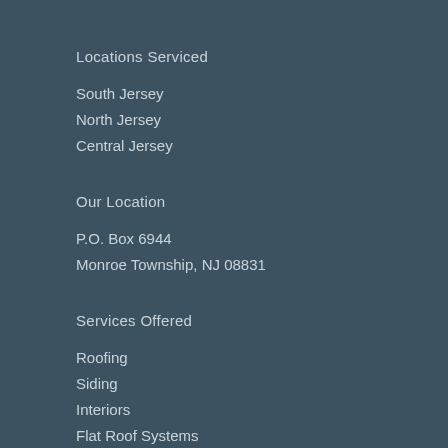Locations Serviced
South Jersey
North Jersey
Central Jersey
Our Location
P.O. Box 6944
Monroe Township, NJ 08831
Services Offered
Roofing
Siding
Interiors
Flat Roof Systems